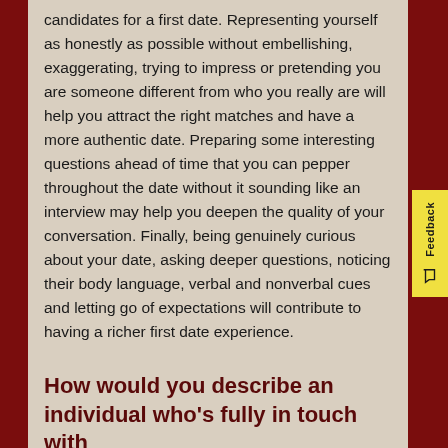candidates for a first date. Representing yourself as honestly as possible without embellishing, exaggerating, trying to impress or pretending you are someone different from who you really are will help you attract the right matches and have a more authentic date. Preparing some interesting questions ahead of time that you can pepper throughout the date without it sounding like an interview may help you deepen the quality of your conversation. Finally, being genuinely curious about your date, asking deeper questions, noticing their body language, verbal and nonverbal cues and letting go of expectations will contribute to having a richer first date experience.
How would you describe an individual who's fully in touch with